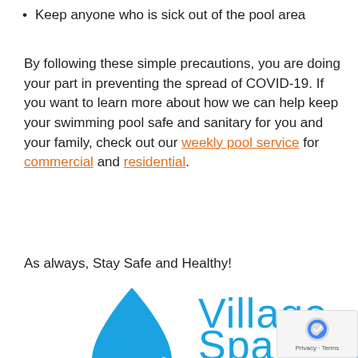Keep anyone who is sick out of the pool area
By following these simple precautions, you are doing your part in preventing the spread of COVID-19. If you want to learn more about how we can help keep your swimming pool safe and sanitary for you and your family, check out our weekly pool service for commercial and residential.
As always, Stay Safe and Healthy!
[Figure (logo): Village Spa Pool logo with VSP water drop icon in blue, and text 'Village Spa Poo' (partially cut off) in blue]